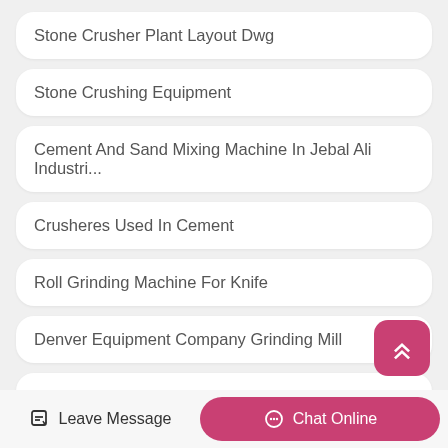Stone Crusher Plant Layout Dwg
Stone Crushing Equipment
Cement And Sand Mixing Machine In Jebal Ali Industri...
Crusheres Used In Cement
Roll Grinding Machine For Knife
Denver Equipment Company Grinding Mill
High Capacity Gyratory Crushers China India
Leave Message   Chat Online